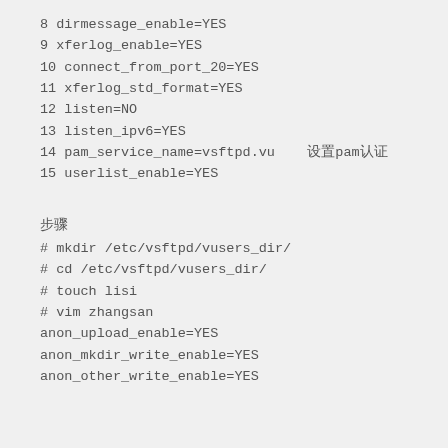8 dirmessage_enable=YES
9 xferlog_enable=YES
10 connect_from_port_20=YES
11 xferlog_std_format=YES
12 listen=NO
13 listen_ipv6=YES
14 pam_service_name=vsftpd.vu	设置pam认证
15 userlist_enable=YES
步骤
# mkdir /etc/vsftpd/vusers_dir/
# cd /etc/vsftpd/vusers_dir/
# touch lisi
# vim zhangsan
anon_upload_enable=YES
anon_mkdir_write_enable=YES
anon_other_write_enable=YES